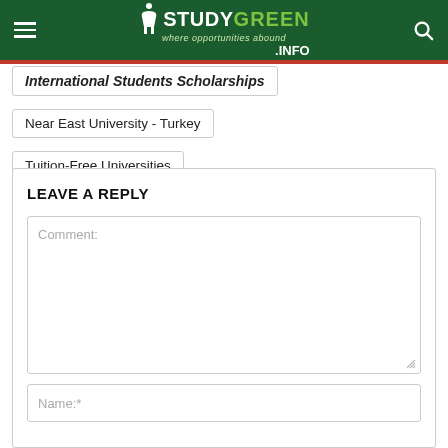STUDYGREEN .INFO — where opportunities abound
International Students Scholarships
Near East University - Turkey
Tuition-Free Universities
LEAVE A REPLY
Comment:
Name:*